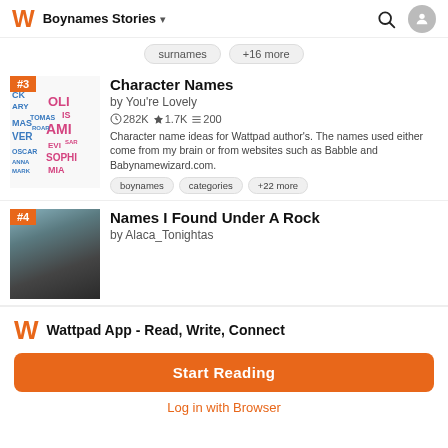Boynames Stories
surnames  +16 more
Character Names
by You're Lovely
282K  1.7Ki  200
Character name ideas for Wattpad author's. The names used either come from my brain or from websites such as Babble and Babynamewizard.com.
boynames   categories   +22 more
Names I Found Under A Rock
by Alaca_Tonightas
Wattpad App - Read, Write, Connect
Start Reading
Log in with Browser